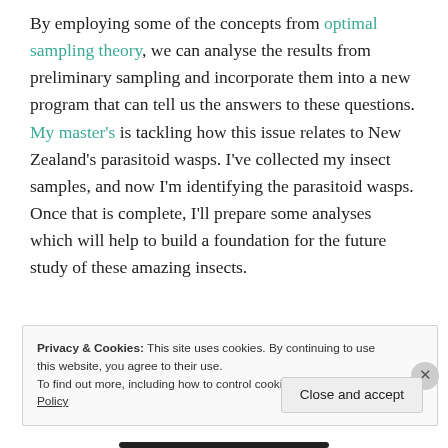By employing some of the concepts from optimal sampling theory, we can analyse the results from preliminary sampling and incorporate them into a new program that can tell us the answers to these questions. My master's is tackling how this issue relates to New Zealand's parasitoid wasps. I've collected my insect samples, and now I'm identifying the parasitoid wasps. Once that is complete, I'll prepare some analyses which will help to build a foundation for the future study of these amazing insects.
Privacy & Cookies: This site uses cookies. By continuing to use this website, you agree to their use. To find out more, including how to control cookies, see here: Cookie Policy